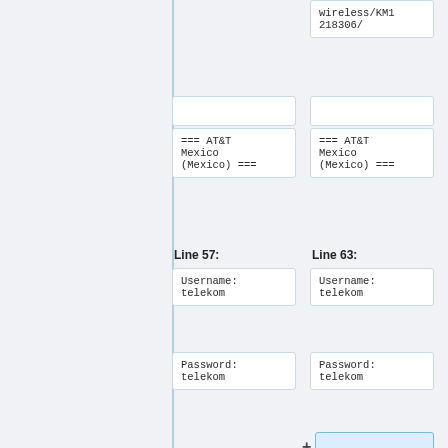wireless/KM1218306/
=== AT&T Mexico (Mexico) ===
=== AT&T Mexico (Mexico) ===
Line 57:
Line 63:
Username: telekom
Username: telekom
Password: telekom
Password: telekom
+
Other settings seem to work, too. [https://forum.songster...